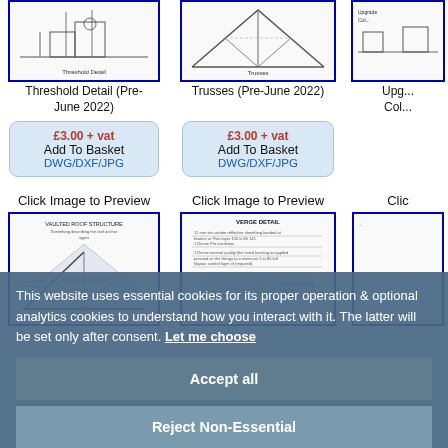[Figure (engineering-diagram): Threshold Detail (Pre-June 2022) - architectural cross-section thumbnail]
Threshold Detail (Pre-June 2022)
£3.00 + vat
Add To Basket
DWG/DXF/JPG
[Figure (engineering-diagram): Trusses (Pre-June 2022) - roof truss cross-section thumbnail]
Trusses (Pre-June 2022)
£3.00 + vat
Add To Basket
DWG/DXF/JPG
Click Image to Preview
Click Image to Preview
[Figure (engineering-diagram): Vaulted Roof Structure - cross-section technical drawing thumbnail]
[Figure (engineering-diagram): Verge Detail - roofing detail technical drawing thumbnail]
This website uses essential cookies for its proper operation & optional analytics cookies to understand how you interact with it. The latter will be set only after consent. Let me choose
Accept all
Reject Non-Essential
£3.00 + vat
Add To Basket
DWG/DXF/JPG
£3.00 + vat
Add To Basket
DWG/DXF/JPG